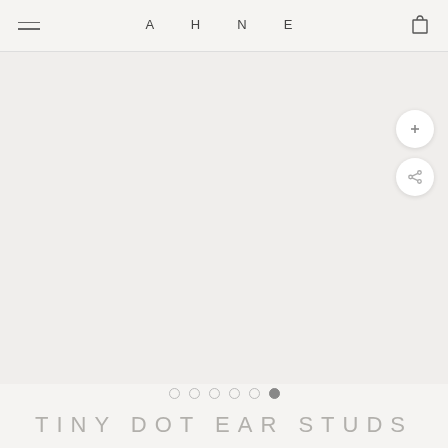A H N E
[Figure (photo): Large empty product image area with light beige/grey background, showing no visible product (blank image placeholder for Tiny Dot Ear Studs)]
TINY DOT EAR STUDS